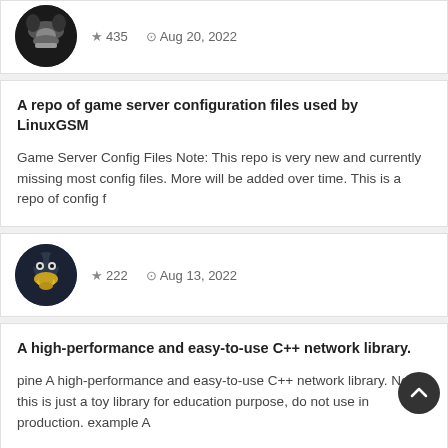[Figure (other): Partial card top: avatar icon (batman-style logo) with star rating 435 and date Aug 20, 2022]
A repo of game server configuration files used by LinuxGSM
Game Server Config Files Note: This repo is very new and currently missing most config files. More will be added over time. This is a repo of config f
[Figure (other): Avatar icon: dark circle with robot/alien face logo, star rating 222, date Aug 13, 2022]
A high-performance and easy-to-use C++ network library.
pine A high-performance and easy-to-use C++ network library. Now this is just a toy library for education purpose, do not use in production. example A
[Figure (other): Partial bottom card with avatar (brown/tan icon visible at bottom)]